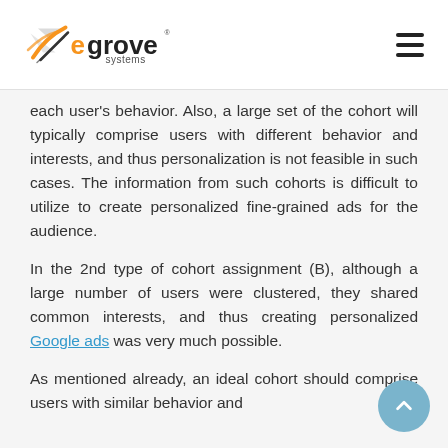eGrove Systems logo and navigation menu
each user's behavior. Also, a large set of the cohort will typically comprise users with different behavior and interests, and thus personalization is not feasible in such cases. The information from such cohorts is difficult to utilize to create personalized fine-grained ads for the audience.
In the 2nd type of cohort assignment (B), although a large number of users were clustered, they shared common interests, and thus creating personalized Google ads was very much possible.
As mentioned already, an ideal cohort should comprise users with similar behavior and